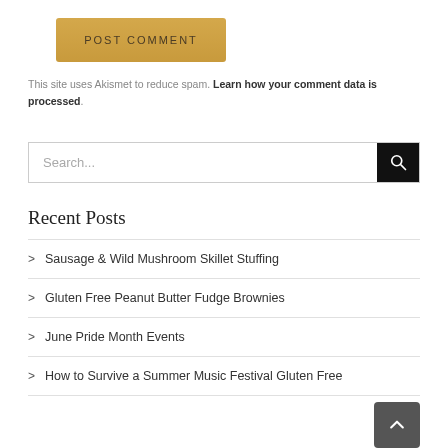POST COMMENT
This site uses Akismet to reduce spam. Learn how your comment data is processed.
[Figure (other): Search bar with text input field and black search button with magnifying glass icon]
Recent Posts
Sausage & Wild Mushroom Skillet Stuffing
Gluten Free Peanut Butter Fudge Brownies
June Pride Month Events
How to Survive a Summer Music Festival Gluten Free